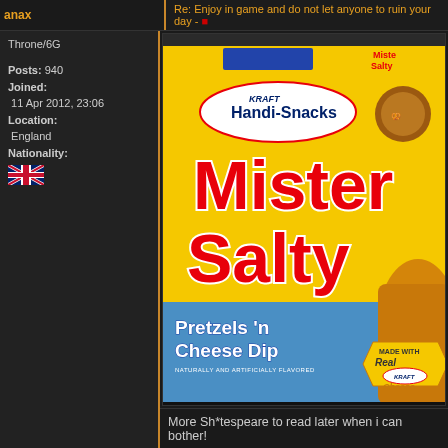anax
Re: Enjoy in game and do not let anyone to ruin your day -
Throne/6G
Posts: 940
Joined:
 11 Apr 2012, 23:06
Location:
 England
Nationality:
[Figure (photo): Kraft Handi-Snacks Mister Salty Pretzels 'n Cheese Dip product box. Yellow and blue box with a cartoon sailor pretzel character. Large red text reads 'Mister Salty'. Text says 'Pretzels n Cheese Dip' and 'NATURALLY AND ARTIFICIALLY FLAVORED'. Badge says 'Made with Real Kraft Cheese'.]
More Sh*tespeare to read later when i can bother!